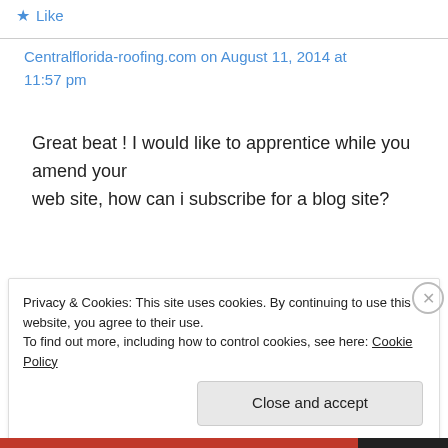Like
Centralflorida-roofing.com on August 11, 2014 at 11:57 pm
Great beat ! I would like to apprentice while you amend your web site, how can i subscribe for a blog site?
Privacy & Cookies: This site uses cookies. By continuing to use this website, you agree to their use.
To find out more, including how to control cookies, see here: Cookie Policy
Close and accept